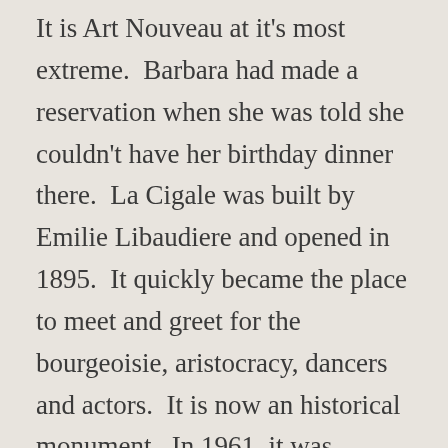It is Art Nouveau at it's most extreme.  Barbara had made a reservation when she was told she couldn't have her birthday dinner there.  La Cigale was built by Emilie Libaudiere and opened in 1895.  It quickly became the place to meet and greet for the bourgeoisie, aristocracy, dancers and actors.  It is now an historical monument.  In 1961, it was chosen as the film set of 'Lola' by Jacques Demy.
We walked in and were seated near a window looking out on the Cours